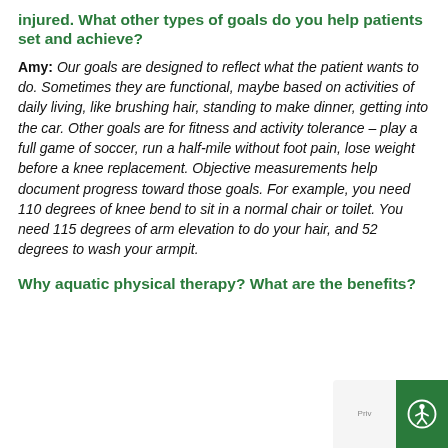injured. What other types of goals do you help patients set and achieve?
Amy: Our goals are designed to reflect what the patient wants to do. Sometimes they are functional, maybe based on activities of daily living, like brushing hair, standing to make dinner, getting into the car. Other goals are for fitness and activity tolerance – play a full game of soccer, run a half-mile without foot pain, lose weight before a knee replacement. Objective measurements help document progress toward those goals. For example, you need 110 degrees of knee bend to sit in a normal chair or toilet. You need 115 degrees of arm elevation to do your hair, and 52 degrees to wash your armpit.
Why aquatic physical therapy? What are the benefits?